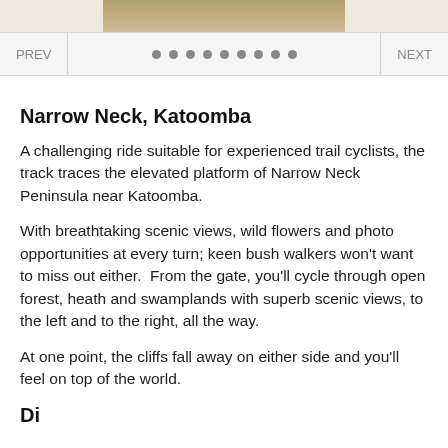[Figure (photo): Partial view of a rocky/sandy terrain photo at the top of the page]
[Figure (other): Navigation bar with PREV button, 9 dot indicators, and NEXT button]
Narrow Neck, Katoomba
A challenging ride suitable for experienced trail cyclists, the track traces the elevated platform of Narrow Neck Peninsula near Katoomba.
With breathtaking scenic views, wild flowers and photo opportunities at every turn; keen bush walkers won’t want to miss out either.  From the gate, you’ll cycle through open forest, heath and swamplands with superb scenic views, to the left and to the right, all the way.
At one point, the cliffs fall away on either side and you’ll feel on top of the world.
Di...